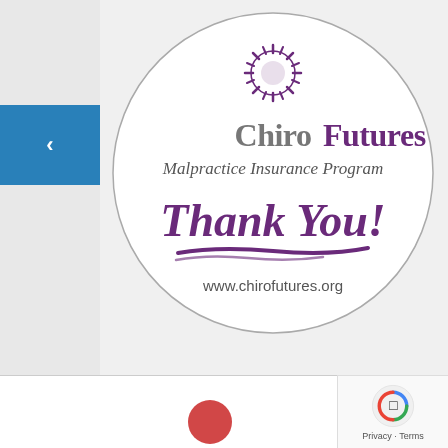[Figure (logo): ChiroFutures Malpractice Insurance Program circular logo/sticker with sunburst icon at top, company name, tagline 'Malpractice Insurance Program', handwritten-style 'Thank You!' text with underline brush stroke, and website www.chirofutures.org at bottom. Purple and gray color scheme on white circle with thin black border.]